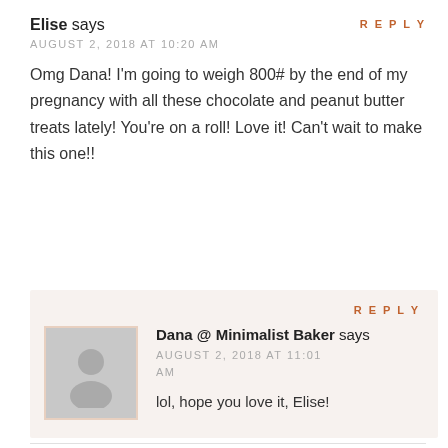REPLY
Elise says
AUGUST 2, 2018 AT 10:20 AM
Omg Dana! I'm going to weigh 800# by the end of my pregnancy with all these chocolate and peanut butter treats lately! You're on a roll! Love it! Can't wait to make this one!!
REPLY
[Figure (illustration): Generic user avatar placeholder: grey circle head and torso silhouette on grey background with pinkish border]
Dana @ Minimalist Baker says
AUGUST 2, 2018 AT 11:01 AM
lol, hope you love it, Elise!